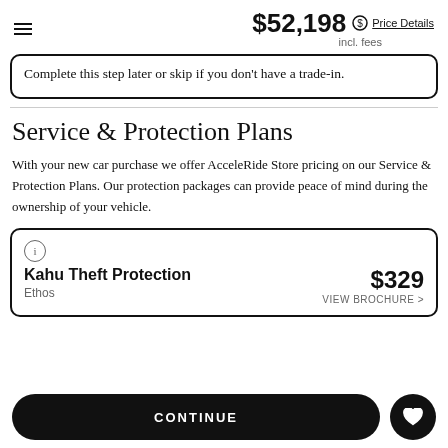$52,198 incl. fees — Price Details
Complete this step later or skip if you don't have a trade-in.
Service & Protection Plans
With your new car purchase we offer AcceleRide Store pricing on our Service & Protection Plans. Our protection packages can provide peace of mind during the ownership of your vehicle.
Kahu Theft Protection
Ethos
$329
VIEW BROCHURE >